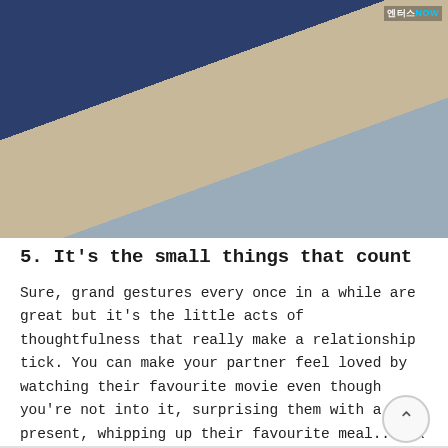[Figure (photo): Two people sitting in chairs at what appears to be an awards ceremony or event. A man in a dark suit with bow tie on the left is clapping, and a woman in a light-colored outfit on the right is also clapping. Other attendees visible in the background. A watermark in the top right reads '엔터스NOW'.]
5. It's the small things that count
Sure, grand gestures every once in a while are great but it's the little acts of thoughtfulness that really make a relationship tick. You can make your partner feel loved by watching their favourite movie even though you're not into it, surprising them with a present, whipping up their favourite meal... OR by keeping them cool on a hot day, à la Hyun Bin.